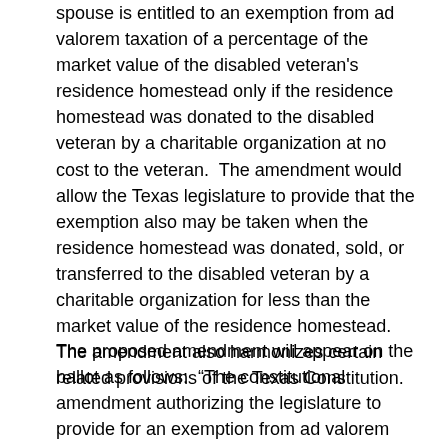spouse is entitled to an exemption from ad valorem taxation of a percentage of the market value of the disabled veteran's residence homestead only if the residence homestead was donated to the disabled veteran by a charitable organization at no cost to the veteran.  The amendment would allow the Texas legislature to provide that the exemption also may be taken when the residence homestead was donated, sold, or transferred to the disabled veteran by a charitable organization for less than the market value of the residence homestead.  The amendment also harmonizes certain related provisions of the Texas Constitution.
The proposed amendment will appear on the ballot as follows:  “The constitutional amendment authorizing the legislature to provide for an exemption from ad valorem taxation of part of the market value of the residence homestead of a partially disabled veteran or the surviving spouse of a partially disabled veteran if the residence homestead was donated to the disabled veteran by a